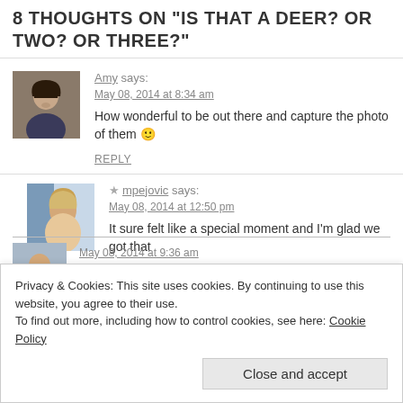8 THOUGHTS ON "IS THAT A DEER? OR TWO? OR THREE?"
[Figure (photo): Avatar photo of commenter Amy, a woman with dark curly hair, smiling]
Amy says:
May 08, 2014 at 8:34 am
How wonderful to be out there and capture the photo of them 🙂
REPLY
[Figure (photo): Avatar photo of commenter mpejovic, a woman with blonde hair, smiling]
★ mpejovic says:
May 08, 2014 at 12:50 pm
It sure felt like a special moment and I'm glad we got that opportunity
Privacy & Cookies: This site uses cookies. By continuing to use this website, you agree to their use.
To find out more, including how to control cookies, see here: Cookie Policy
Close and accept
May 08, 2014 at 9:36 am